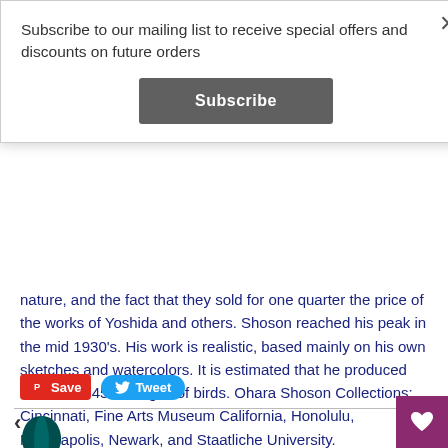Subscribe to our mailing list to receive special offers and discounts on future orders
Subscribe
nature, and the fact that they sold for one quarter the price of the works of Yoshida and others. Shoson reached his peak in the mid 1930's. His work is realistic, based mainly on his own sketches and watercolors. It is estimated that he produced more than 450 designs of birds. Ohara Shoson Collections: Cincinnati, Fine Arts Museum California, Honolulu, Minneapolis, Newark, and Staatliche University.
[Figure (logo): Pinterest Save button (red) and Twitter Tweet button (blue)]
[Figure (logo): Hot air balloon logo icon in teal/dark teal]